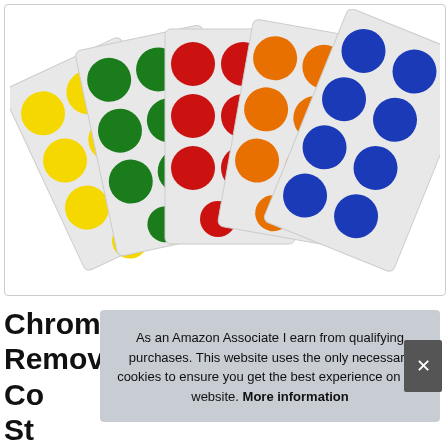[Figure (photo): Fanned out sheets of colorful round dot stickers in yellow, green, red, orange, and blue colors arranged on a white background]
ChromeLabel 0.50 Inch Removable Co... St... Pa...
As an Amazon Associate I earn from qualifying purchases. This website uses the only necessary cookies to ensure you get the best experience on our website. More information